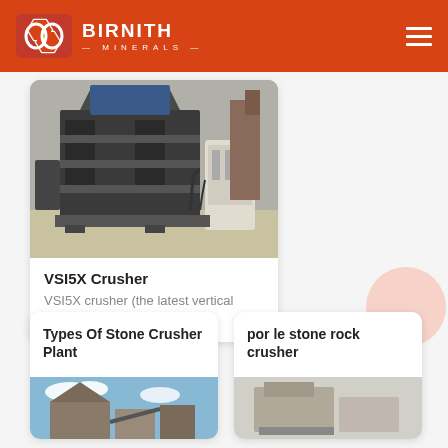BIRNITH MINERALS
[Figure (photo): VSI5X industrial crusher machine in a factory setting, dark grey metal frame with hydraulic components and a white auxiliary unit]
VSI5X Crusher
VSI5X crusher (the latest vertical shaft...
Types Of Stone Crusher Plant
por le stone rock crusher
[Figure (photo): Partial view of a stone crusher plant]
[Figure (photo): Partial view of a portable stone rock crusher]